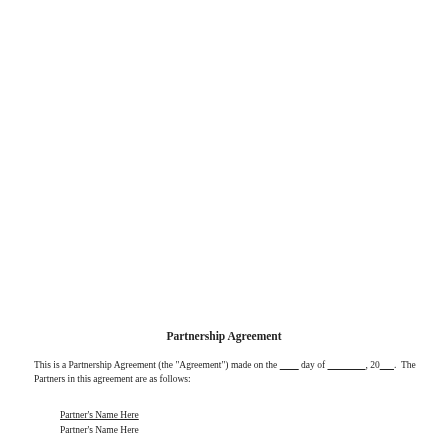Partnership Agreement
This is a Partnership Agreement (the "Agreement") made on the _______ day of _______________, 20______. The Partners in this agreement are as follows:
Partner's Name Here
Partner's Name Here